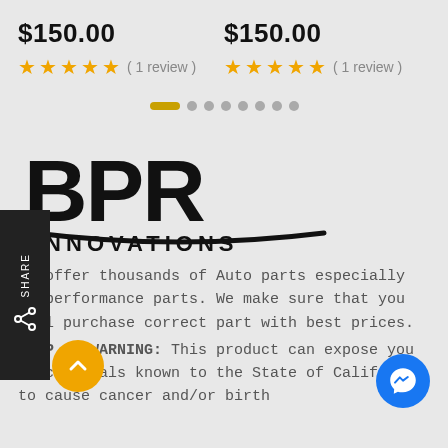$150.00   $150.00
★★★★★ (1 review)   ★★★★★ (1 review)
[Figure (other): Carousel navigation dots: one active golden bar and seven inactive grey dots]
[Figure (logo): BPR Innovations logo in black bold text]
We offer thousands of Auto parts especially on performance parts. We make sure that you will purchase correct part with best prices.
PROP 65 WARNING: This product can expose you to chemicals known to the State of California to cause cancer and/or birth